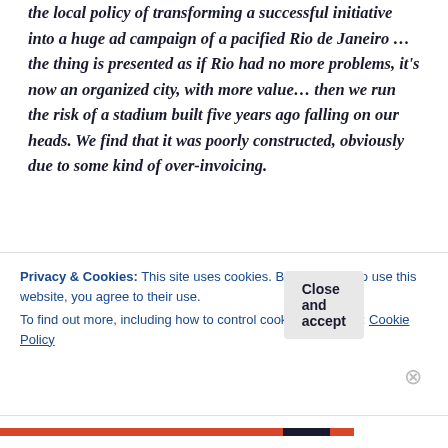the local policy of transforming a successful initiative into a huge ad campaign of a pacified Rio de Janeiro …the thing is presented as if Rio had no more problems, it's now an organized city, with more value… then we run the risk of a stadium built five years ago falling on our heads. We find that it was poorly constructed, obviously due to some kind of over-invoicing.
We have no social pact, no one is talking about truly building a country for everyone. What we do have, sadly, and quite widely accepted, are individual or
Privacy & Cookies: This site uses cookies. By continuing to use this website, you agree to their use.
To find out more, including how to control cookies, see here: Cookie Policy